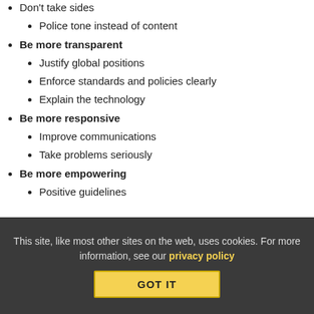Don't take sides
Police tone instead of content
Be more transparent
Justify global positions
Enforce standards and policies clearly
Explain the technology
Be more responsive
Improve communications
Take problems seriously
Be more empowering
Positive guidelines
This site, like most other sites on the web, uses cookies. For more information, see our privacy policy
GOT IT